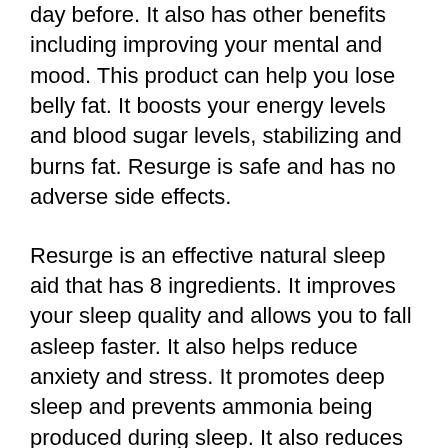day before. It also has other benefits including improving your mental and mood. This product can help you lose belly fat. It boosts your energy levels and blood sugar levels, stabilizing and burns fat. Resurge is safe and has no adverse side effects.
Resurge is an effective natural sleep aid that has 8 ingredients. It improves your sleep quality and allows you to fall asleep faster. It also helps reduce anxiety and stress. It promotes deep sleep and prevents ammonia being produced during sleep. It also reduces the production aged-related hormones when you sleep. It’s an excellent supplement for people who don’t get complete seven or eight hours of rest at night.